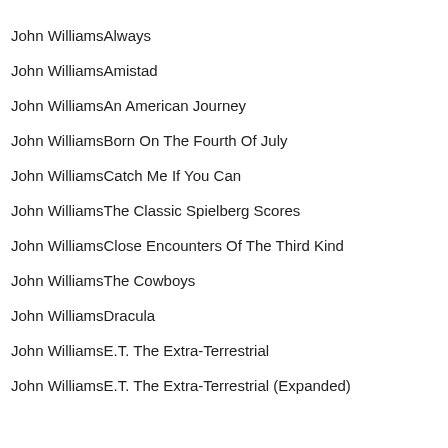John WilliamsAlways
John WilliamsAmistad
John WilliamsAn American Journey
John WilliamsBorn On The Fourth Of July
John WilliamsCatch Me If You Can
John WilliamsThe Classic Spielberg Scores
John WilliamsClose Encounters Of The Third Kind
John WilliamsThe Cowboys
John WilliamsDracula
John WilliamsE.T. The Extra-Terrestrial
John WilliamsE.T. The Extra-Terrestrial (Expanded)